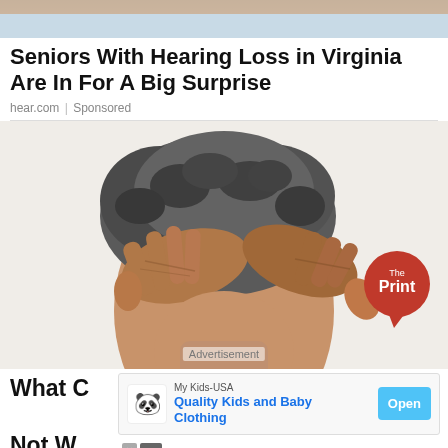[Figure (photo): Top partial photo — skin/hand close-up, cropped at top of page]
Seniors With Hearing Loss in Virginia Are In For A Big Surprise
hear.com | Sponsored
[Figure (photo): Elderly person viewed from behind with gray curly hair, hands placed on their head, white background. The Print logo badge visible in lower right of image. Advertisement watermark at bottom.]
Advertisement
What C… Likely
Not W…
[Figure (other): Ad banner overlay: My Kids-USA — Quality Kids and Baby Clothing — Open button. Panda icon on left. X close and play controls at bottom left.]